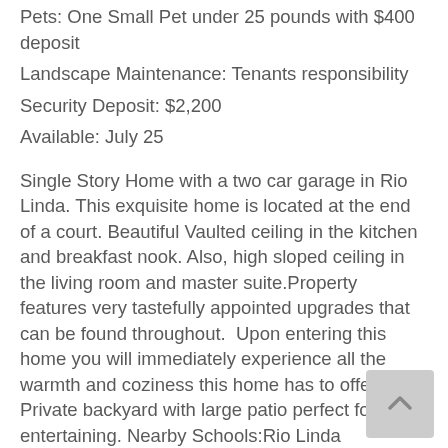Pets: One Small Pet under 25 pounds with $400 deposit
Landscape Maintenance: Tenants responsibility
Security Deposit: $2,200
Available: July 25
Single Story Home with a two car garage in Rio Linda. This exquisite home is located at the end of a court. Beautiful Vaulted ceiling in the kitchen and breakfast nook. Also, high sloped ceiling in the living room and master suite.Property features very tastefully appointed upgrades that can be found throughout.  Upon entering this home you will immediately experience all the warmth and coziness this home has to offer. Private backyard with large patio perfect for entertaining. Nearby Schools:Rio Linda Preparatory Academy/Grant Union High School